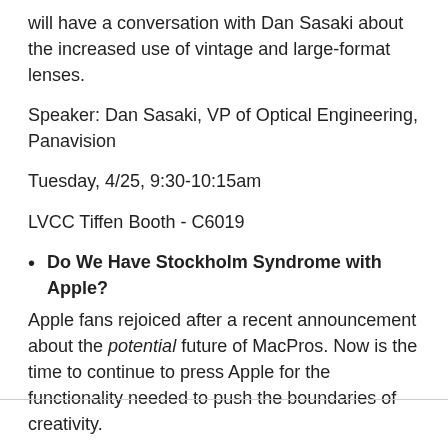will have a conversation with Dan Sasaki about the increased use of vintage and large-format lenses.
Speaker: Dan Sasaki, VP of Optical Engineering, Panavision
Tuesday, 4/25, 9:30-10:15am
LVCC Tiffen Booth - C6019
Do We Have Stockholm Syndrome with Apple? Apple fans rejoiced after a recent announcement about the potential future of MacPros. Now is the time to continue to press Apple for the functionality needed to push the boundaries of creativity.
Presenter: Michael Cioni, SVP of Innovation, Panavision and Light Iron